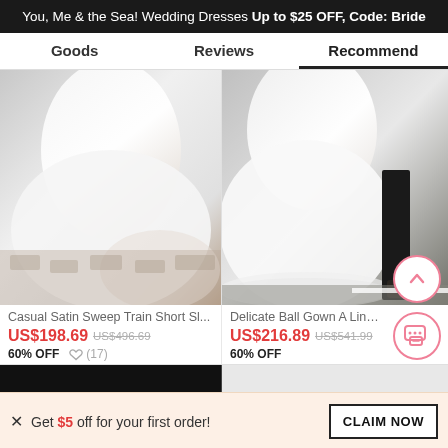You, Me & the Sea! Wedding Dresses Up to $25 OFF, Code: Bride
Goods | Reviews | Recommend
[Figure (photo): Wedding dress photo showing lower half of white satin gown with sweep train on cobblestone]
[Figure (photo): Wedding dress photo showing lower half of white ball gown with lace hem, man in black suit visible]
Casual Satin Sweep Train Short Sl...
US$198.69  US$496.69
60% OFF  ♡ (17)
Delicate Ball Gown A Line Lac...
US$216.89  US$541.99
60% OFF
× Get $5 off for your first order!
CLAIM NOW
♡ 24  ADD TO BAG